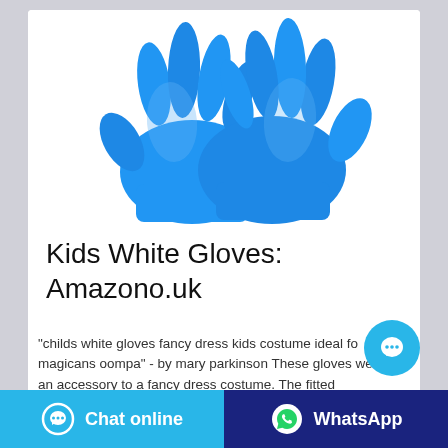[Figure (photo): Two blue nitrile/latex gloves displayed side by side on a white background]
Kids White Gloves: Amazono.uk
"childs white gloves fancy dress kids costume ideal fo magicans oompa" - by mary parkinson These gloves were an accessory to a fancy dress costume. The fitted
Chat online
WhatsApp